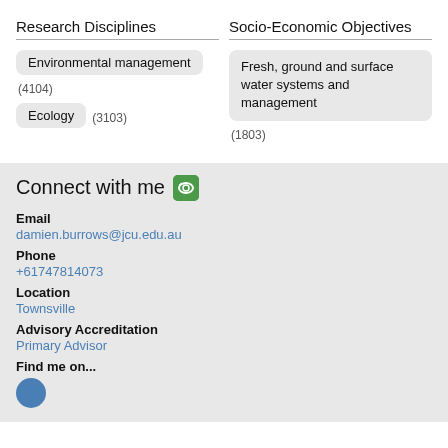Research Disciplines
Environmental management (4104)
Ecology (3103)
Socio-Economic Objectives
Fresh, ground and surface water systems and management (1803)
Connect with me
Email
damien.burrows@jcu.edu.au
Phone
+61747814073
Location
Townsville
Advisory Accreditation
Primary Advisor
Find me on...